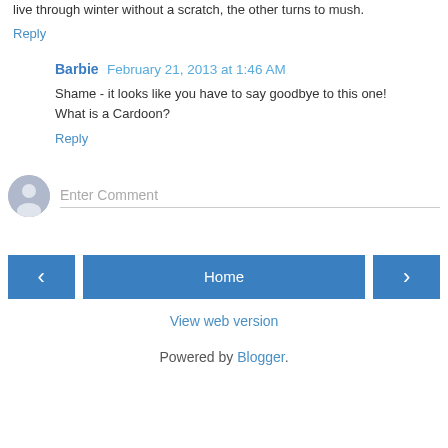live through winter without a scratch, the other turns to mush.
Reply
Barbie  February 21, 2013 at 1:46 AM
Shame - it looks like you have to say goodbye to this one! What is a Cardoon?
Reply
[Figure (screenshot): Comment input area with avatar icon and Enter Comment placeholder text]
< Home >
View web version
Powered by Blogger.